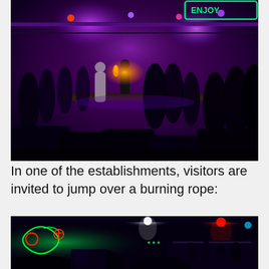[Figure (photo): Nightclub scene with purple and pink lighting, people dancing and standing on a stage area, a performer holding fire, neon signs visible above.]
In one of the establishments, visitors are invited to jump over a burning rope:
[Figure (photo): Dark interior of a nightclub or bar with green and red neon lights and decorations, people visible in the background near the bar area.]